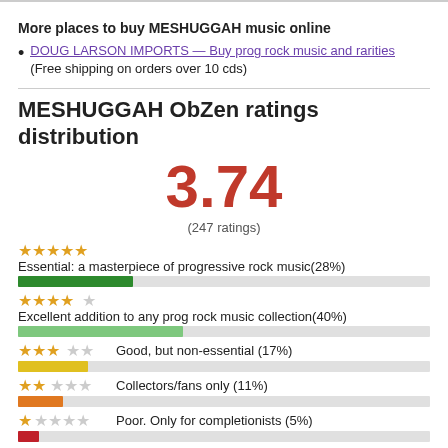More places to buy MESHUGGAH music online
DOUG LARSON IMPORTS — Buy prog rock music and rarities (Free shipping on orders over 10 cds)
MESHUGGAH ObZen ratings distribution
3.74
(247 ratings)
★★★★★  Essential: a masterpiece of progressive rock music(28%)
[Figure (bar-chart): Ratings distribution]
★★★★☆  Excellent addition to any prog rock music collection(40%)
★★★☆☆  Good, but non-essential (17%)
★★☆☆☆  Collectors/fans only (11%)
★☆☆☆☆  Poor. Only for completionists (5%)